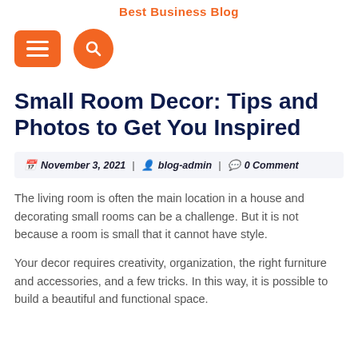Best Business Blog
[Figure (other): Orange hamburger menu button (rectangle with three horizontal lines) and orange circular search button with magnifying glass icon]
Small Room Decor: Tips and Photos to Get You Inspired
November 3, 2021 | blog-admin | 0 Comment
The living room is often the main location in a house and decorating small rooms can be a challenge. But it is not because a room is small that it cannot have style.
Your decor requires creativity, organization, the right furniture and accessories, and a few tricks. In this way, it is possible to build a beautiful and functional space.